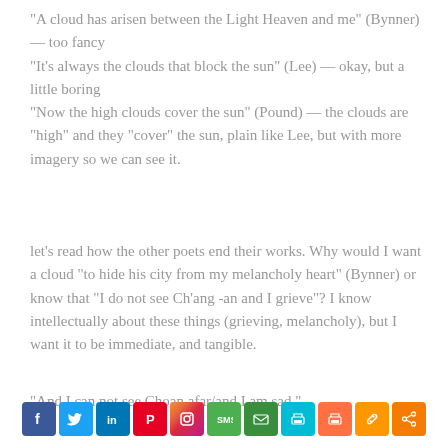“A cloud has arisen between the Light Heaven and me” (Bynner) — too fancy
“It’s always the clouds that block the sun” (Lee) — okay, but a little boring
“Now the high clouds cover the sun” (Pound) — the clouds are “high” and they “cover” the sun, plain like Lee, but with more imagery so we can see it.
let’s read how the other poets end their works. Why would I want a cloud “to hide his city from my melancholy heart” (Bynner) or know that “I do not see Ch’ang -an and I grieve”? I know intellectually about these things (grieving, melancholy), but I want it to be immediate, and tangible.
“And I can not see Choan afar/and I am sad.”
[Figure (infographic): Social media sharing icons bar: Facebook (blue), Twitter (light blue), LinkedIn (blue), Pinterest (red), Instagram (purple/pink gradient), SMS (green), Email (green), Print (cyan), Print2 (orange), Link (orange), Share (orange)]